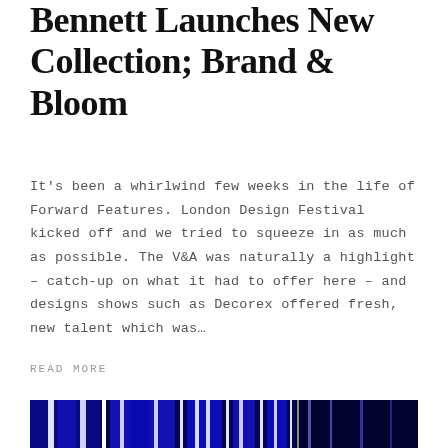Bennett Launches New Collection; Brand & Bloom
It's been a whirlwind few weeks in the life of Forward Features. London Design Festival kicked off and we tried to squeeze in as much as possible. The V&A was naturally a highlight – catch-up on what it had to offer here – and designs shows such as Decorex offered fresh, new talent which was…
READ MORE
[Figure (photo): Abstract blue striped image, dark navy/cobalt vertical bars with white separating lines, partial view of a decorative or architectural element]